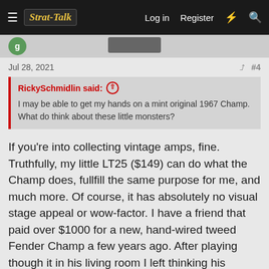Strat-Talk | Log in | Register
Jul 28, 2021   #4
RickySchmidlin said: ↑
I may be able to get my hands on a mint original 1967 Champ. What do think about these little monsters?
If you're into collecting vintage amps, fine. Truthfully, my little LT25 ($149) can do what the Champ does, fullfill the same purpose for me, and much more. Of course, it has absolutely no visual stage appeal or wow-factor. I have a friend that paid over $1000 for a new, hand-wired tweed Fender Champ a few years ago. After playing though it in his living room I left thinking his money could have been better spent.
Last edited: Jul 28, 2021